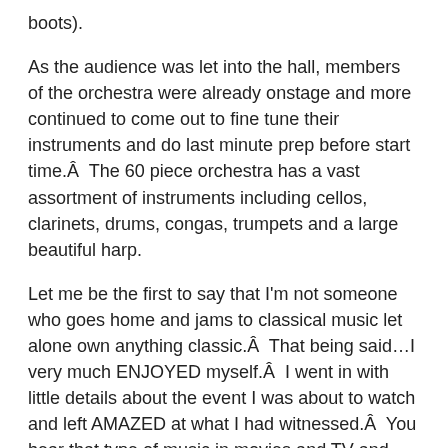boots).
As the audience was let into the hall, members of the orchestra were already onstage and more continued to come out to fine tune their instruments and do last minute prep before start time.Â  The 60 piece orchestra has a vast assortment of instruments including cellos, clarinets, drums, congas, trumpets and a large beautiful harp.
Let me be the first to say that I’m not someone who goes home and jams to classical music let alone own anything classic.Â  That being said…I very much ENJOYED myself.Â  I went in with little details about the event I was about to watch and left AMAZED at what I had witnessed.Â  You hear that type of music in movies and TV and don't think too much of it, but to see it live is QUITE an experience.
With so many members making up the orchestra, it’s hard to look at everyone during the performances, so I see why